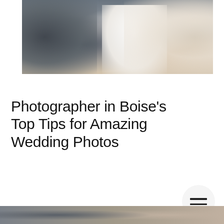[Figure (photo): Wedding couple photo showing groom in dark suit embracing bride in white strapless dress, cropped at torso level with soft background]
Photographer in Boise's Top Tips for Amazing Wedding Photos
Wedding Tips
[Figure (photo): Partial wedding photo visible at bottom of page]